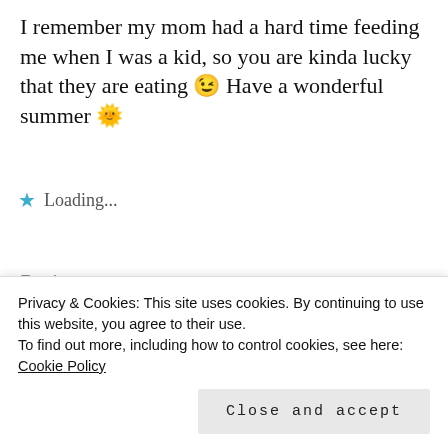I remember my mom had a hard time feeding me when I was a kid, so you are kinda lucky that they are eating 😉 Have a wonderful summer 🌞
Loading...
Reply
Kasia Mikolajczak (@KasiaMikola)
Privacy & Cookies: This site uses cookies. By continuing to use this website, you agree to their use.
To find out more, including how to control cookies, see here: Cookie Policy
Close and accept
eating a lot. My nephew was eating like a